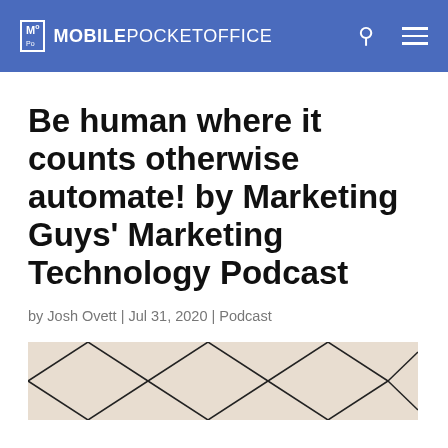MOBILE POCKET OFFICE
Be human where it counts otherwise automate! by Marketing Guys' Marketing Technology Podcast
by Josh Ovett | Jul 31, 2020 | Podcast
[Figure (photo): Partial view of a geometric diamond/lattice pattern background image, beige with dark lines]